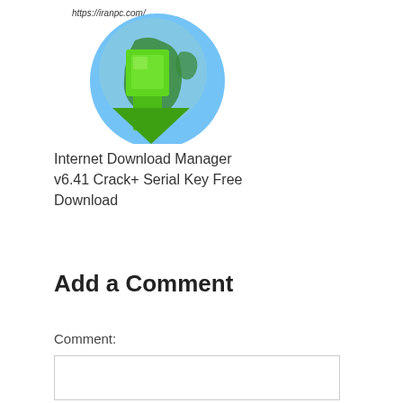[Figure (illustration): Internet Download Manager logo: a green download arrow overlaid on a globe, with the URL https://iranpc.com/ watermarked at the top]
Internet Download Manager v6.41 Crack+ Serial Key Free Download
Add a Comment
Comment: